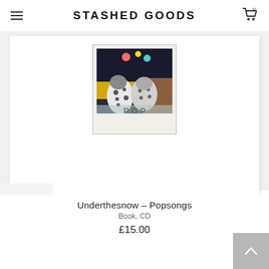STASHED GOODS
[Figure (photo): Album cover for Underthesnow - Popsongs. A polaroid-style photo showing two children in polka dot clothing. Text overlay reads 'POP SONGS' in semi-transparent letters.]
Underthesnow – Popsongs
Book, CD
£15.00